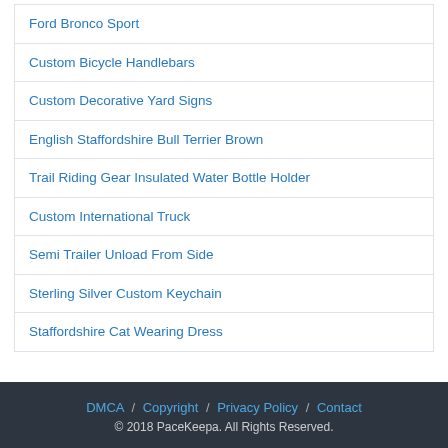Ford Bronco Sport
Custom Bicycle Handlebars
Custom Decorative Yard Signs
English Staffordshire Bull Terrier Brown
Trail Riding Gear Insulated Water Bottle Holder
Custom International Truck
Semi Trailer Unload From Side
Sterling Silver Custom Keychain
Staffordshire Cat Wearing Dress
DMCA / Copyright / Privacy Policy / Contact © 2018 PaceKeepa. All Rights Reserved.